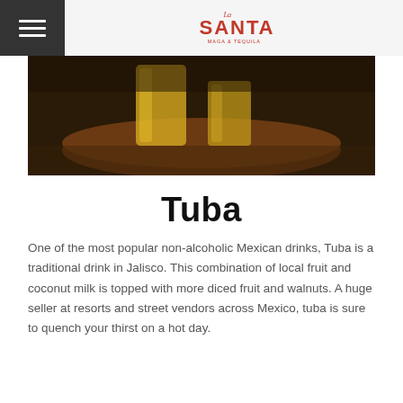La Santa — menu navigation header with hamburger icon and logo
[Figure (photo): Photo of two glasses of Tuba drink on a dark wooden serving board, dark moody background]
Tuba
One of the most popular non-alcoholic Mexican drinks, Tuba is a traditional drink in Jalisco. This combination of local fruit and coconut milk is topped with more diced fruit and walnuts. A huge seller at resorts and street vendors across Mexico, tuba is sure to quench your thirst on a hot day.